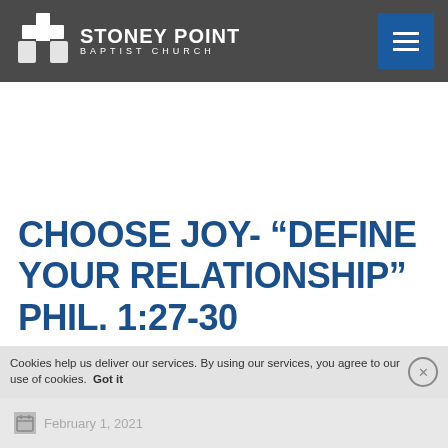STONEY POINT BAPTIST CHURCH
CHOOSE JOY- “DEFINE YOUR RELATIONSHIP” PHIL. 1:27-30
Cookies help us deliver our services. By using our services, you agree to our use of cookies. Got it
February 1, 2021